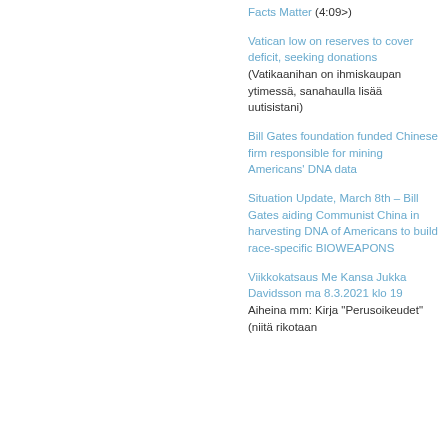Facts Matter (4:09>)
Vatican low on reserves to cover deficit, seeking donations (Vatikaanihan on ihmiskaupan ytimessä, sanahaulla lisää uutisistani)
Bill Gates foundation funded Chinese firm responsible for mining Americans' DNA data
Situation Update, March 8th – Bill Gates aiding Communist China in harvesting DNA of Americans to build race-specific BIOWEAPONS
Viikkokatsaus Me Kansa Jukka Davidsson ma 8.3.2021 klo 19 Aiheina mm: Kirja "Perusoikeudet" (niitä rikotaan